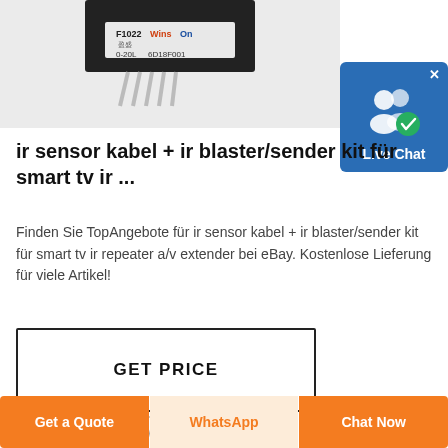[Figure (photo): Product photo of an IR sensor/blaster device labeled F1022 WinsOn, model 0-20L, serial 6D18F001, with pin connectors, on white background]
[Figure (other): Live Chat button — blue rounded rectangle with white two-person icon and checkmark, labeled 'Live Chat']
ir sensor kabel + ir blaster/sender kit für smart tv ir ...
Finden Sie TopAngebote für ir sensor kabel + ir blaster/sender kit für smart tv ir repeater a/v extender bei eBay. Kostenlose Lieferung für viele Artikel!
[Figure (other): GET PRICE button — white rectangle with dark border and bold 'GET PRICE' text]
[Figure (other): Partially visible second button at the bottom of the content area]
[Figure (other): Footer bar with three buttons: 'Get a Quote' (orange), 'WhatsApp' (light/cream), 'Chat Now' (orange)]